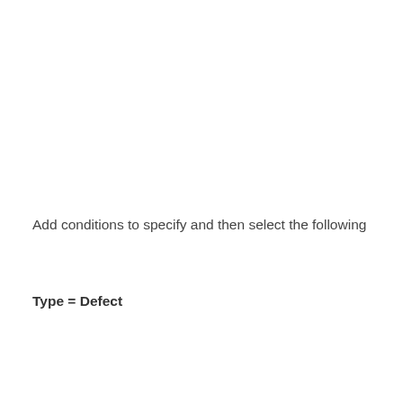Add conditions to specify and then select the following
Type = Defect